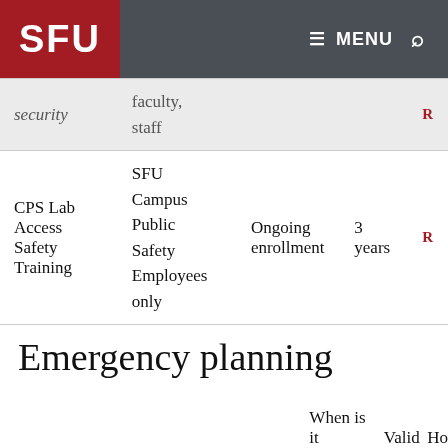SFU | MENU (search icon)
| Training/Orientation | Audience | When is it offered? | Valid for | How to register |
| --- | --- | --- | --- | --- |
| security | faculty, staff |  |  |  |
| CPS Lab Access Safety Training | SFU Campus Public Safety Employees only | Ongoing enrollment | 3 years |  |
Emergency planning
| Training/Orientation | Audience | When is it offered? | Valid for | How to register |
| --- | --- | --- | --- | --- |
|  |  |  |  |  |
|  | SFU |  |  |  |